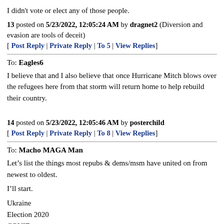I didn't vote or elect any of those people.
13 posted on 5/23/2022, 12:05:24 AM by dragnet2 (Diversion and evasion are tools of deceit)
[ Post Reply | Private Reply | To 5 | View Replies]
To: Eagles6
I believe that and I also believe that once Hurricane Mitch blows over the refugees here from that storm will return home to help rebuild their country.
14 posted on 5/23/2022, 12:05:46 AM by posterchild
[ Post Reply | Private Reply | To 8 | View Replies]
To: Macho MAGA Man
Let’s list the things most repubs & dems/msm have united on from newest to oldest.
I’ll start.
Ukraine
Election 2020
COVID